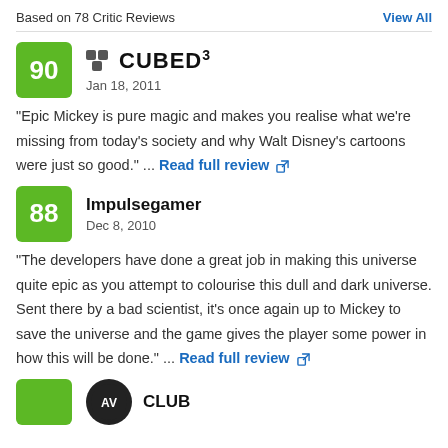Based on 78 Critic Reviews
View All
Cubed3 — Jan 18, 2011 — Score: 90
"Epic Mickey is pure magic and makes you realise what we're missing from today's society and why Walt Disney's cartoons were just so good." ... Read full review
Impulsegamer — Dec 8, 2010 — Score: 88
"The developers have done a great job in making this universe quite epic as you attempt to colourise this dull and dark universe. Sent there by a bad scientist, it's once again up to Mickey to save the universe and the game gives the player some power in how this will be done." ... Read full review